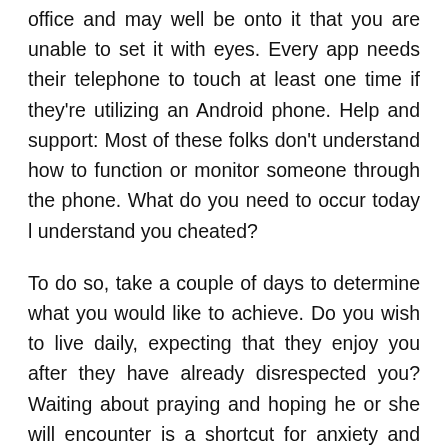office and may well be onto it that you are unable to set it with eyes. Every app needs their telephone to touch at least one time if they're utilizing an Android phone. Help and support: Most of these folks don't understand how to function or monitor someone through the phone. What do you need to occur today l understand you cheated?
To do so, take a couple of days to determine what you would like to achieve. Do you wish to live daily, expecting that they enjoy you after they have already disrespected you? Waiting about praying and hoping he or she will encounter is a shortcut for anxiety and depression attacks. This process will check how to catch a cheating spouse for the presence of semen and won't function if the bit of clothing was washed. You want to make the user accounts, and you'll get ID and password when you